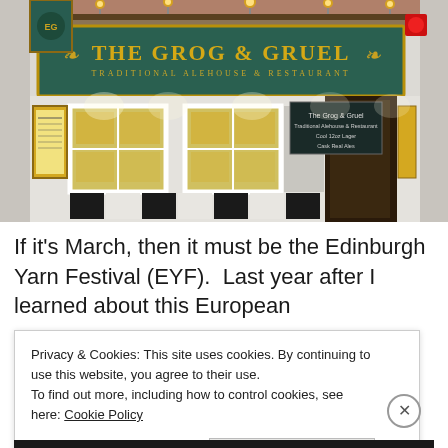[Figure (photo): Photograph of the exterior of 'The Grog & Gruel' pub and restaurant, showing a teal/green sign with gold lettering reading 'THE GROG & GRUEL TRADITIONAL ALEHOUSE & RESTAURANT', white-framed windows, menu boards on either side, and a dark entrance door.]
If it's March, then it must be the Edinburgh Yarn Festival (EYF).  Last year after I learned about this European
Privacy & Cookies: This site uses cookies. By continuing to use this website, you agree to their use.
To find out more, including how to control cookies, see here: Cookie Policy
Close and accept